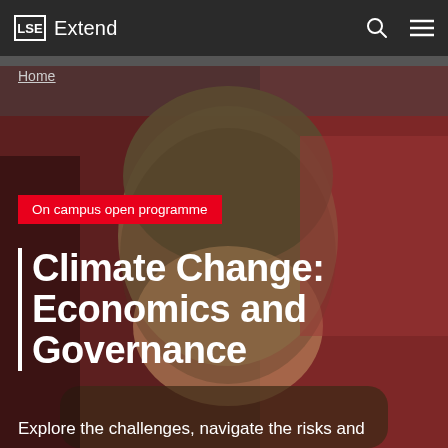LSE Extend
Home
On campus open programme
Climate Change: Economics and Governance
Explore the challenges, navigate the risks and